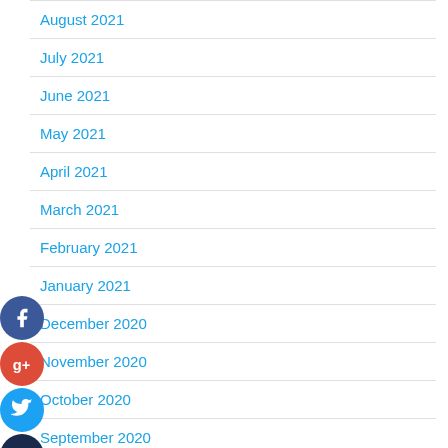August 2021
July 2021
June 2021
May 2021
April 2021
March 2021
February 2021
January 2021
December 2020
November 2020
October 2020
September 2020
August 2020